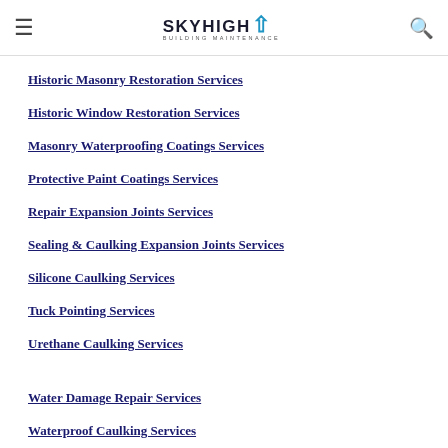SkyHigh Building Maintenance
Historic Masonry Restoration Services
Historic Window Restoration Services
Masonry Waterproofing Coatings Services
Protective Paint Coatings Services
Repair Expansion Joints Services
Sealing & Caulking Expansion Joints Services
Silicone Caulking Services
Tuck Pointing Services
Urethane Caulking Services
Water Damage Repair Services
Waterproof Caulking Services
Waterproofing Services